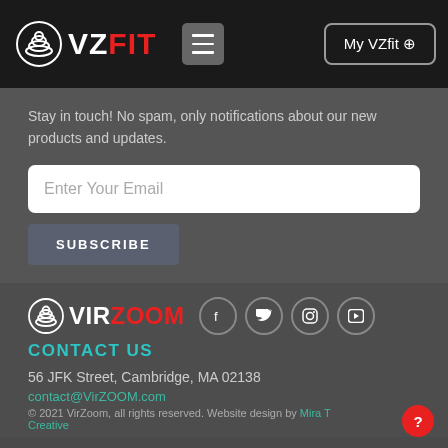VZ FIT — My VZfit
Stay in touch! No spam, only notifications about our new products and updates.
Enter Your Email
SUBSCRIBE
[Figure (logo): VirZoom logo with social media icons (Facebook, Twitter, Instagram, YouTube)]
CONTACT US
56 JFK Street, Cambridge, MA 02138
contact@VirZOOM.com
© 2021 VirZoom, all rights reserved. Website design by Mira T Creative